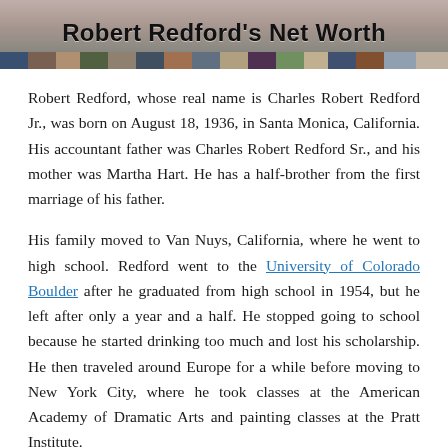Robert Redford's Net Worth
Robert Redford, whose real name is Charles Robert Redford Jr., was born on August 18, 1936, in Santa Monica, California. His accountant father was Charles Robert Redford Sr., and his mother was Martha Hart. He has a half-brother from the first marriage of his father.
His family moved to Van Nuys, California, where he went to high school. Redford went to the University of Colorado Boulder after he graduated from high school in 1954, but he left after only a year and a half. He stopped going to school because he started drinking too much and lost his scholarship. He then traveled around Europe for a while before moving to New York City, where he took classes at the American Academy of Dramatic Arts and painting classes at the Pratt Institute.